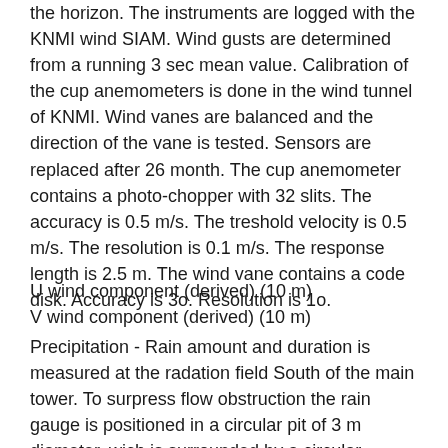the horizon. The instruments are logged with the KNMI wind SIAM. Wind gusts are determined from a running 3 sec mean value. Calibration of the cup anemometers is done in the wind tunnel of KNMI. Wind vanes are balanced and the direction of the vane is tested. Sensors are replaced after 26 month. The cup anemometer contains a photo-chopper with 32 slits. The accuracy is 0.5 m/s. The treshold velocity is 0.5 m/s. The resolution is 0.1 m/s. The response length is 2.5 m. The wind vane contains a code disk. Accuracy is 3o. Resolution is 1o.
U wind component (derived) (10 m)
V wind component (derived) (10 m)
Precipitation - Rain amount and duration is measured at the radation field South of the main tower. To surpress flow obstruction the rain gauge is positioned in a circular pit of 3 m diameter, wich is surrounded by a circular